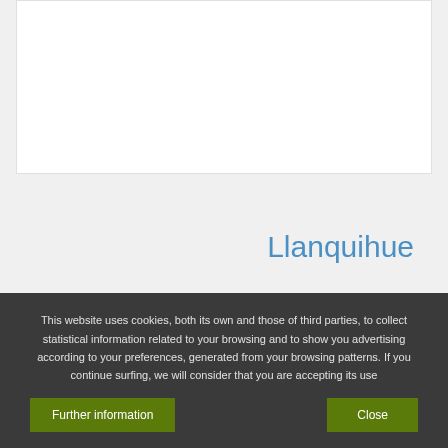[Figure (other): White card area at top, empty content region]
Llanquihue
This website uses cookies, both its own and those of third parties, to collect statistical information related to your browsing and to show you advertising according to your preferences, generated from your browsing patterns. If you continue surfing, we will consider that you are accepting its use
Further information
Close